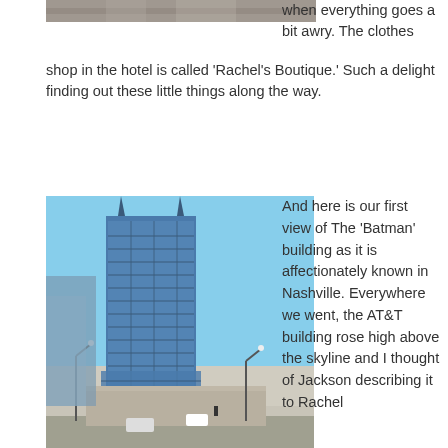[Figure (photo): Top portion of a building photo, partially visible at top of page]
when everything goes a bit awry. The clothes shop in the hotel is called 'Rachel's Boutique.' Such a delight finding out these little things along the way.
[Figure (photo): Street-level photo of the AT&T 'Batman' building in Nashville — a tall blue glass skyscraper with distinctive spires, against a clear blue sky, with street and buildings in the foreground]
And here is our first view of The 'Batman' building as it is affectionately known in Nashville. Everywhere we went, the AT&T building rose high above the skyline and I thought of Jackson describing it to Rachel